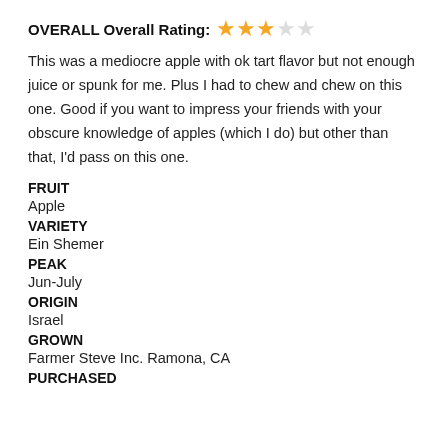OVERALL Overall Rating: ★★★☆☆
This was a mediocre apple with ok tart flavor but not enough juice or spunk for me. Plus I had to chew and chew on this one. Good if you want to impress your friends with your obscure knowledge of apples (which I do) but other than that, I'd pass on this one.
FRUIT
Apple
VARIETY
Ein Shemer
PEAK
Jun-July
ORIGIN
Israel
GROWN
Farmer Steve Inc. Ramona, CA
PURCHASED